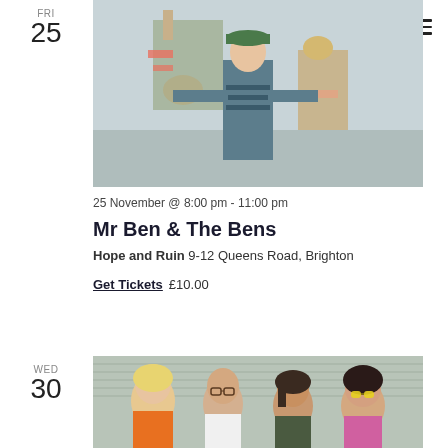FRI
25
[Figure (photo): Man in green cap and striped shirt holding colorful puppet/art pieces outdoors against a light sky]
25 November @ 8:00 pm - 11:00 pm
Mr Ben & The Bens
Hope and Ruin 9-12 Queens Road, Brighton
Get Tickets  £10.00
WED
30
[Figure (photo): Group of four young people (band members) posing in front of a corrugated metal wall, wearing colorful outfits]